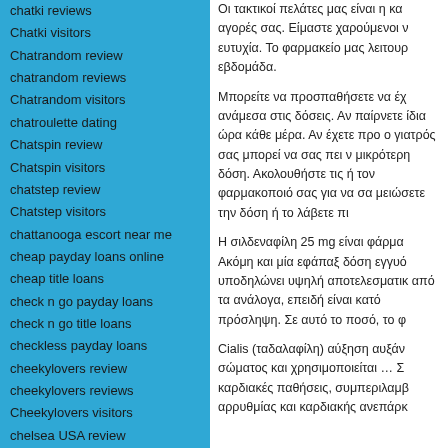chatki reviews
Chatki visitors
Chatrandom review
chatrandom reviews
Chatrandom visitors
chatroulette dating
Chatspin review
Chatspin visitors
chatstep review
Chatstep visitors
chattanooga escort near me
cheap payday loans online
cheap title loans
check n go payday loans
check n go title loans
checkless payday loans
cheekylovers review
cheekylovers reviews
Cheekylovers visitors
chelsea USA review
chemistry review
chemistry reviews
chemistry visitors
chemistry vs match sign in
Οι τακτικοί πελάτες μας είναι η καλύτερη αγορές σας. Είμαστε χαρούμενοι να σας ευχία. Το φαρμακείο μας λειτουρ εβδομάδα.
Μπορείτε να προσπαθήσετε να έχ ανάμεσα στις δόσεις. Αν παίρνετε ίδια ώρα κάθε μέρα. Αν έχετε προ ο γιατρός σας μπορεί να σας πει ν μικρότερη δόση. Ακολουθήστε τις ή τον φαρμακοποιό σας για να σα μειώσετε την δόση ή το λάβετε πι
Η σιλδεναφίλη 25 mg είναι φάρμα Ακόμη και μία εφάπαξ δόση εγγυό υποδηλώνει υψηλή αποτελεσματικ από τα ανάλογα, επειδή είναι κατό πρόσληψη. Σε αυτό το ποσό, το φ
Cialis (ταδαλαφίλη) αύξηση αυξάν σώματος και χρησιμοποιείται … Σ καρδιακές παθήσεις, συμπεριλαμβ αρρυθμίας και καρδιακής ανεπάρκ